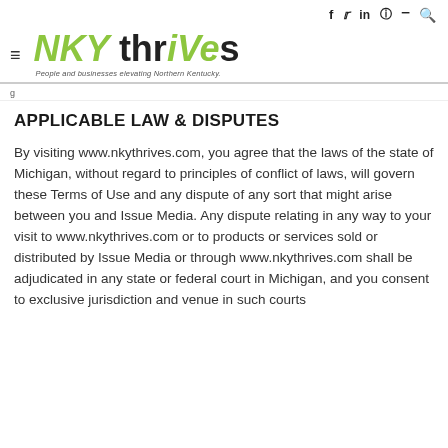NKY thrives — People and businesses elevating Northern Kentucky.
APPLICABLE LAW & DISPUTES
By visiting www.nkythrives.com, you agree that the laws of the state of Michigan, without regard to principles of conflict of laws, will govern these Terms of Use and any dispute of any sort that might arise between you and Issue Media. Any dispute relating in any way to your visit to www.nkythrives.com or to products or services sold or distributed by Issue Media or through www.nkythrives.com shall be adjudicated in any state or federal court in Michigan, and you consent to exclusive jurisdiction and venue in such courts